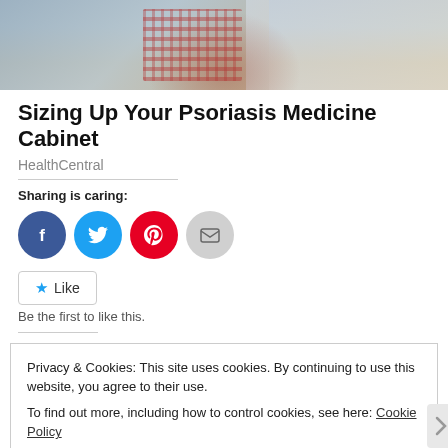[Figure (photo): Cropped photo of a person sitting, viewed from behind, wearing a red plaid shirt and jeans, with a blurred colorful background]
Sizing Up Your Psoriasis Medicine Cabinet
HealthCentral
Sharing is caring:
[Figure (infographic): Social sharing buttons: Facebook (blue circle), Twitter (cyan circle), Pinterest (red circle), Email (gray circle)]
[Figure (infographic): Like button with star icon and text 'Like', followed by text 'Be the first to like this.']
Privacy & Cookies: This site uses cookies. By continuing to use this website, you agree to their use.
To find out more, including how to control cookies, see here: Cookie Policy